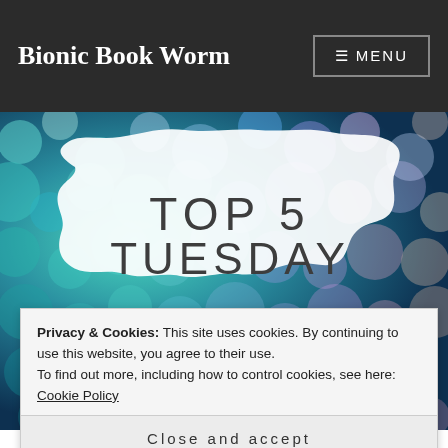Bionic Book Worm
[Figure (illustration): Top 5 Tuesday banner image with colorful bokeh background and white paint splash overlay containing 'TOP 5 TUESDAY' text. 'Hosted by Bionic Book Worm' in white italic text below divider line.]
Privacy & Cookies: This site uses cookies. By continuing to use this website, you agree to their use.
To find out more, including how to control cookies, see here: Cookie Policy
Close and accept